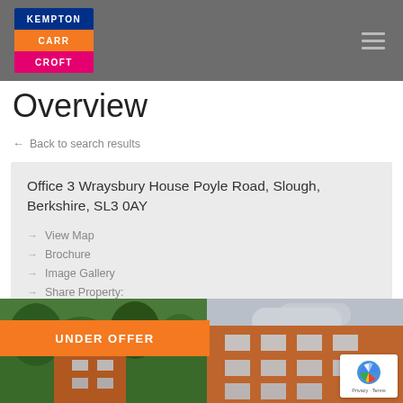[Figure (logo): Kempton Carr Croft logo with three colored horizontal bands: blue (KEMPTON), orange (CARR), pink (CROFT)]
Overview
← Back to search results
Office 3 Wraysbury House Poyle Road, Slough, Berkshire, SL3 0AY
→ View Map
→ Brochure
→ Image Gallery
→ Share Property:
UNDER OFFER
[Figure (photo): Brick building exterior photo showing a multi-storey office block with trees on the left and cloudy sky on the right]